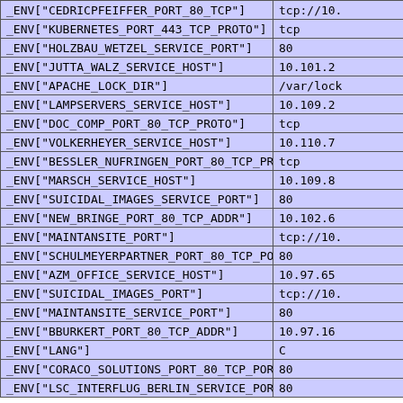| Key | Value |
| --- | --- |
| _ENV["CEDRICPFEIFFER_PORT_80_TCP"] | tcp://10. |
| _ENV["KUBERNETES_PORT_443_TCP_PROTO"] | tcp |
| _ENV["HOLZBAU_WETZEL_SERVICE_PORT"] | 80 |
| _ENV["JUTTA_WALZ_SERVICE_HOST"] | 10.101.2 |
| _ENV["APACHE_LOCK_DIR"] | /var/lock |
| _ENV["LAMPSERVERS_SERVICE_HOST"] | 10.109.2 |
| _ENV["DOC_COMP_PORT_80_TCP_PROTO"] | tcp |
| _ENV["VOLKERHEYER_SERVICE_HOST"] | 10.110.7 |
| _ENV["BESSLER_NUFRINGEN_PORT_80_TCP_PROTO"] | tcp |
| _ENV["MARSCH_SERVICE_HOST"] | 10.109.8 |
| _ENV["SUICIDAL_IMAGES_SERVICE_PORT"] | 80 |
| _ENV["NEW_BRINGE_PORT_80_TCP_ADDR"] | 10.102.6 |
| _ENV["MAINTANSITE_PORT"] | tcp://10. |
| _ENV["SCHULMEYERPARTNER_PORT_80_TCP_PORT"] | 80 |
| _ENV["AZM_OFFICE_SERVICE_HOST"] | 10.97.65 |
| _ENV["SUICIDAL_IMAGES_PORT"] | tcp://10. |
| _ENV["MAINTANSITE_SERVICE_PORT"] | 80 |
| _ENV["BBURKERT_PORT_80_TCP_ADDR"] | 10.97.16 |
| _ENV["LANG"] | C |
| _ENV["CORACO_SOLUTIONS_PORT_80_TCP_PORT"] | 80 |
| _ENV["LSC_INTERFLUG_BERLIN_SERVICE_PORT"] | 80 |